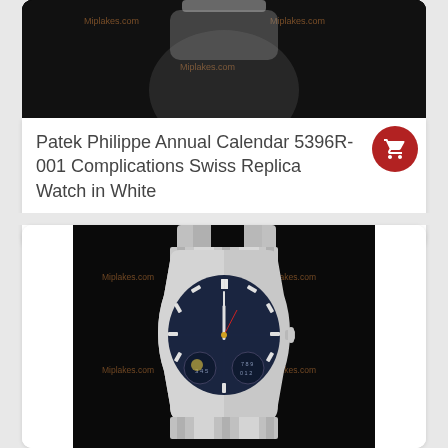[Figure (photo): Patek Philippe watch on black background, partially cropped at top]
Patek Philippe Annual Calendar 5396R-001 Complications Swiss Replica Watch in White
US$649.00
[Figure (photo): Patek Philippe Nautilus watch with steel bracelet on black background, showing complications subdials]